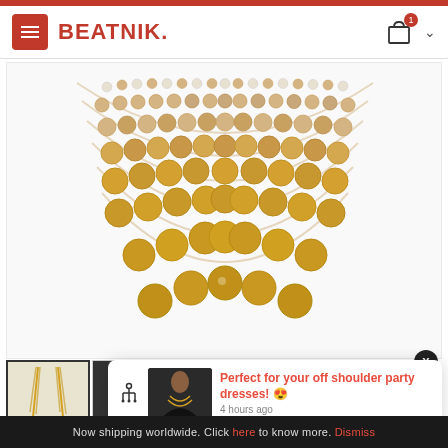BEATNIK.
[Figure (photo): Multi-strand pearl and gold bead necklace photographed against white background, showing 5-6 strands of alternating white and gold pearls forming a V-shape]
[Figure (photo): Thumbnail of gold chain earrings]
[Figure (photo): Thumbnail of model wearing jewelry]
[Figure (photo): Thumbnail of gold necklace]
Perfect for your off shoulder party dresses! 😍
4 hours ago
Now shipping worldwide. Click here to know more. Dismiss